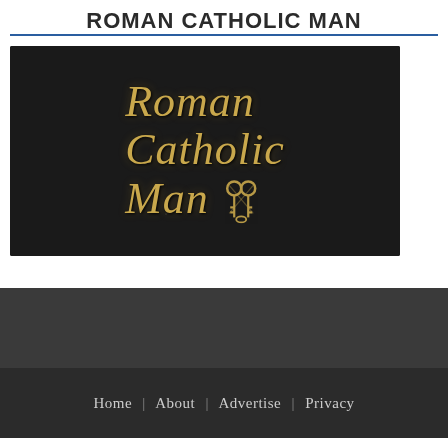ROMAN CATHOLIC MAN
[Figure (logo): Dark leather-textured background with gold italic serif text reading 'Roman Catholic Man' with crossed papal keys emblem]
Home | About | Advertise | Privacy